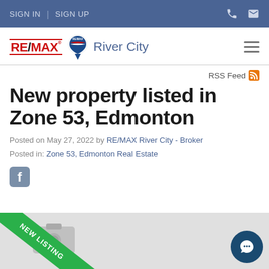SIGN IN | SIGN UP
[Figure (logo): RE/MAX River City real estate logo with balloon icon]
RSS Feed
New property listed in Zone 53, Edmonton
Posted on May 27, 2022 by RE/MAX River City - Broker
Posted in: Zone 53, Edmonton Real Estate
[Figure (illustration): New listing badge with camera icon placeholder and NEW LISTING ribbon, plus chat bubble widget in bottom right]